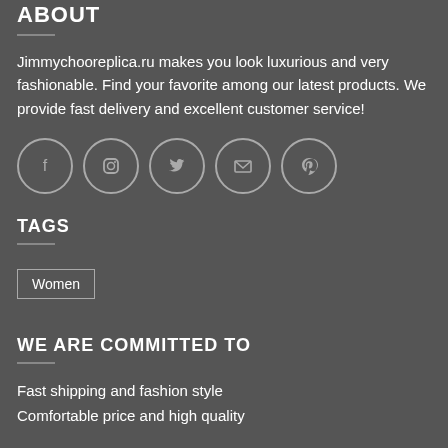ABOUT
Jimmychooreplica.ru makes you look luxurious and very fashionable. Find your favorite among our latest products. We provide fast delivery and excellent customer service!
[Figure (illustration): Row of 5 social media icon circles: Facebook, Instagram, Twitter, Email, Pinterest]
TAGS
Women
WE ARE COMMITTED TO
Fast shipping and fashion style
Comfortable price and high quality